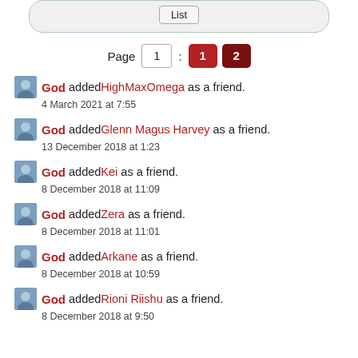List
Page 1: 1 2
God added HighMaxOmega as a friend. 4 March 2021 at 7:55
God added Glenn Magus Harvey as a friend. 13 December 2018 at 1:23
God added Kei as a friend. 8 December 2018 at 11:09
God added Zera as a friend. 8 December 2018 at 11:01
God added Arkane as a friend. 8 December 2018 at 10:59
God added Rioni Riishu as a friend. 8 December 2018 at 9:50